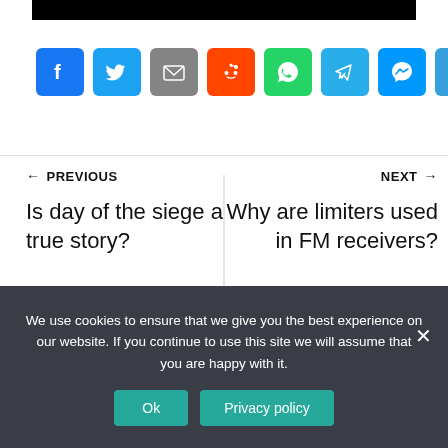[Figure (other): Social media share icons: Facebook, Twitter, Email, Reddit, WhatsApp, Telegram, Messenger, Share (plus)]
← PREVIOUS
Is day of the siege a true story?
NEXT →
Why are limiters used in FM receivers?
We use cookies to ensure that we give you the best experience on our website. If you continue to use this site we will assume that you are happy with it.
Ok
Privacy policy